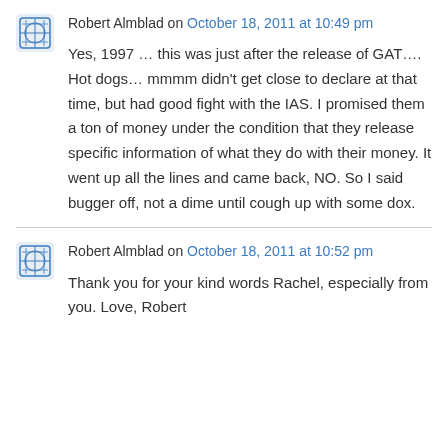Robert Almblad on October 18, 2011 at 10:49 pm
Yes, 1997 … this was just after the release of GAT…. Hot dogs… mmmm didn't get close to declare at that time, but had good fight with the IAS. I promised them a ton of money under the condition that they release specific information of what they do with their money. It went up all the lines and came back, NO. So I said bugger off, not a dime until cough up with some dox.
Robert Almblad on October 18, 2011 at 10:52 pm
Thank you for your kind words Rachel, especially from you. Love, Robert